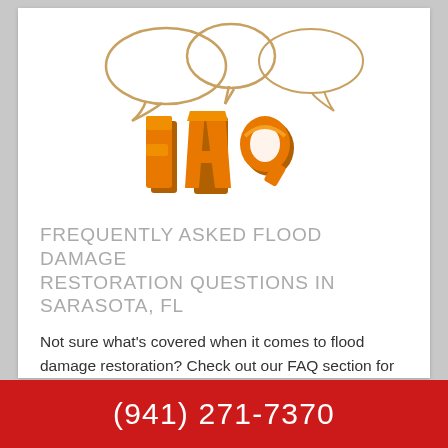[Figure (illustration): Three speech bubble outlines above large 3D orange 'FAQ' letters]
FREQUENTLY ASKED FLOOD DAMAGE RESTORATION QUESTIONS IN SARASOTA, FL
Not sure what's covered when it comes to flood damage restoration? Check out our FAQ section for more information. Click Here to view our flood da...
(941) 271-7370